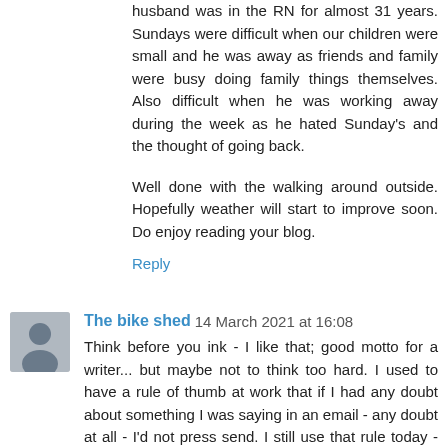husband was in the RN for almost 31 years. Sundays were difficult when our children were small and he was away as friends and family were busy doing family things themselves. Also difficult when he was working away during the week as he hated Sunday's and the thought of going back.
Well done with the walking around outside. Hopefully weather will start to improve soon. Do enjoy reading your blog.
Reply
The bike shed 14 March 2021 at 16:08
Think before you ink - I like that; good motto for a writer... but maybe not to think too hard. I used to have a rule of thumb at work that if I had any doubt about something I was saying in an email - any doubt at all - I'd not press send. I still use that rule today - though I now work for, and to some extent please, myself... But as for my more serious writing - that requires an honesty that sometimes upsets...but it is my truth, and never told gratuitously.